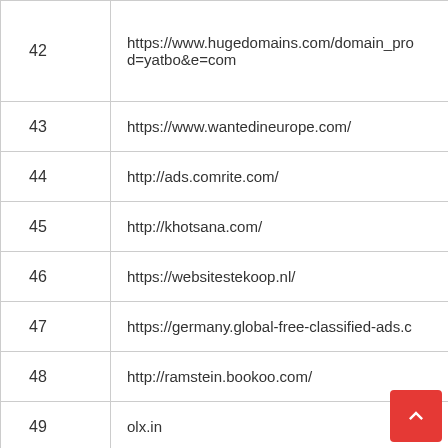| # | URL |
| --- | --- |
| 42 | https://www.hugedomains.com/domain_profile.cfm?d=yatbo&e=com |
| 43 | https://www.wantedineurope.com/ |
| 44 | http://ads.comrite.com/ |
| 45 | http://khotsana.com/ |
| 46 | https://websitestekoop.nl/ |
| 47 | https://germany.global-free-classified-ads.com/ |
| 48 | http://ramstein.bookoo.com/ |
| 49 | olx.in |
| 50 | http://postad.de/ |